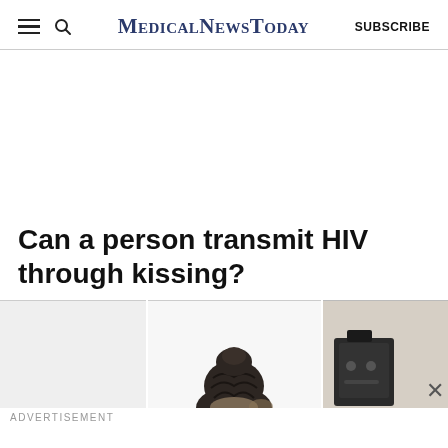MedicalNewsToday SUBSCRIBE
Can a person transmit HIV through kissing?
[Figure (photo): A strip of three partially visible images: a light grey panel on the left, a person with braided updo hair in the center, and a dark electronic device on a beige background on the right. An X close button is visible on the right side.]
ADVERTISEMENT